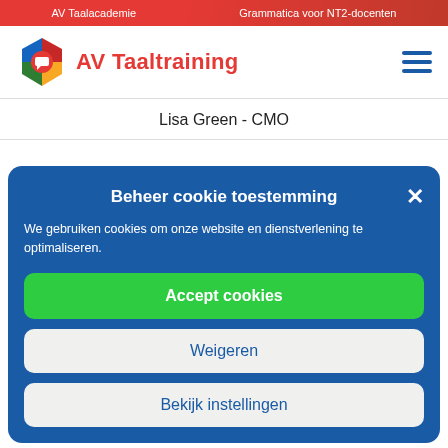AV Taalacademie   Grammatica voor NT2-docenten
[Figure (logo): AV Taaltraining hexagonal logo with colored segments and hamburger menu icon]
Lisa Green - CMO
Beheer cookie toestemming
We gebruiken cookies om onze website en dienstverlening te optimaliseren.
Accept cookies
Weigeren
Bekijk instellingen